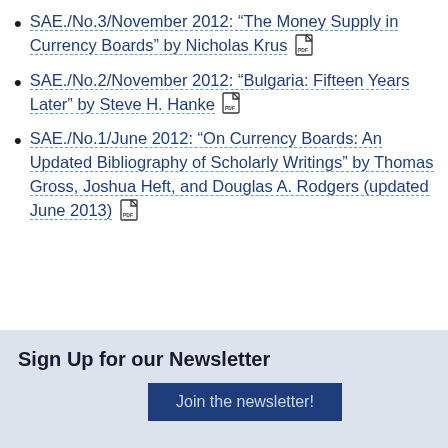SAE./No.3/November 2012: “The Money Supply in Currency Boards” by Nicholas Krus [PDF]
SAE./No.2/November 2012: “Bulgaria: Fifteen Years Later” by Steve H. Hanke [PDF]
SAE./No.1/June 2012: “On Currency Boards: An Updated Bibliography of Scholarly Writings” by Thomas Gross, Joshua Heft, and Douglas A. Rodgers (updated June 2013) [PDF]
Sign Up for our Newsletter
Join the newsletter!